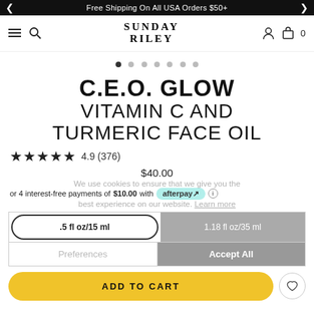Free Shipping On All USA Orders $50+
[Figure (logo): Sunday Riley brand logo and navigation bar with hamburger menu, search icon, user icon, and cart icon]
[Figure (other): Carousel pagination dots, 7 dots with first one active]
C.E.O. GLOW VITAMIN C AND TURMERIC FACE OIL
★★★★★ 4.9 (376)
$40.00
or 4 interest-free payments of $10.00 with afterpay
We use cookies to ensure that we give you the best experience on our website. Learn more
.5 fl oz/15 ml
1.18 fl oz/35 ml
Preferences
Accept All
ADD TO CART